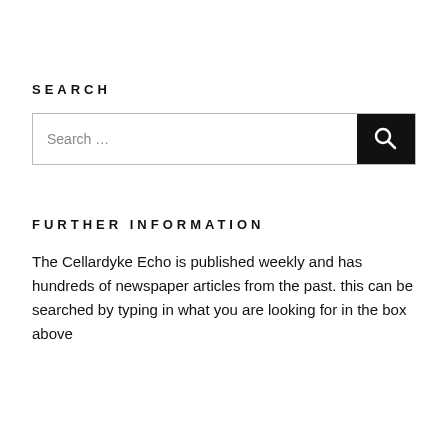SEARCH
[Figure (screenshot): Search input box with placeholder text 'Search …' and a black search button with magnifying glass icon]
FURTHER INFORMATION
The Cellardyke Echo is published weekly and has hundreds of newspaper articles from the past. this can be searched by typing in what you are looking for in the box above